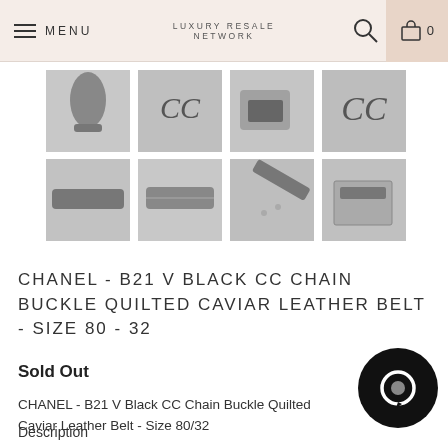MENU | LUXURY RESALE NETWORK | 0
[Figure (photo): Grid of 8 product thumbnail images showing a Chanel CC Chain Buckle Quilted Caviar Leather Belt from various angles, in black and white/grayscale. Top row: belt body, CC buckle close-up, belt with dust bag, CC logo close-up. Bottom row: belt laid flat, belt rolled, belt at angle, belt in box.]
CHANEL - B21 V BLACK CC CHAIN BUCKLE QUILTED CAVIAR LEATHER BELT - SIZE 80 - 32
Sold Out
CHANEL - B21 V Black CC Chain Buckle Quilted Caviar Leather Belt - Size 80/32
Description